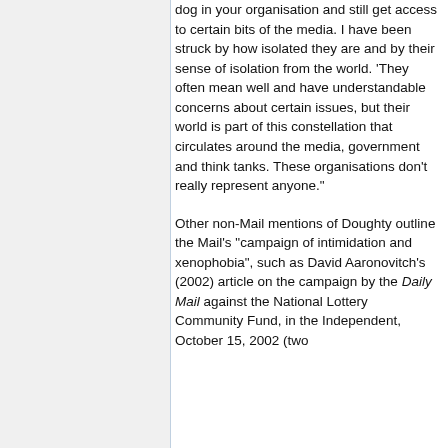dog in your organisation and still get access to certain bits of the media. I have been struck by how isolated they are and by their sense of isolation from the world. 'They often mean well and have understandable concerns about certain issues, but their world is part of this constellation that circulates around the media, government and think tanks. These organisations don't really represent anyone."
Other non-Mail mentions of Doughty outline the Mail's "campaign of intimidation and xenophobia", such as David Aaronovitch's (2002) article on the campaign by the Daily Mail against the National Lottery Community Fund, in the Independent, October 15, 2002 (two